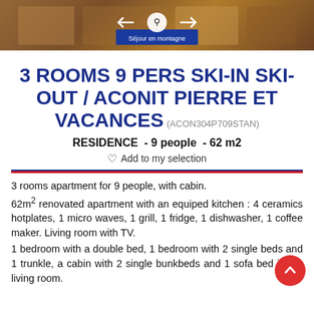[Figure (photo): Photo banner of ski resort interior/exterior with navigation arrows overlay]
3 ROOMS 9 PERS SKI-IN SKI-OUT / ACONIT PIERRE ET VACANCES (ACON304P709STAN)
RESIDENCE  - 9 people  - 62 m2
Add to my selection
3 rooms apartment for 9 people, with cabin. 62m² renovated apartment with an equiped kitchen : 4 ceramics hotplates, 1 micro waves, 1 grill, 1 fridge, 1 dishwasher, 1 coffee maker. Living room with TV. 1 bedroom with a double bed, 1 bedroom with 2 single beds and 1 trunkle, a cabin with 2 single bunkbeds and 1 sofa bed in the living room.